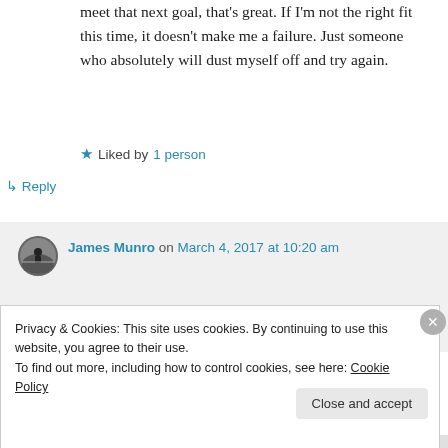meet that next goal, that's great. If I'm not the right fit this time, it doesn't make me a failure. Just someone who absolutely will dust myself off and try again.
★ Liked by 1 person
↳ Reply
James Munro on March 4, 2017 at 10:20 am
Privacy & Cookies: This site uses cookies. By continuing to use this website, you agree to their use.
To find out more, including how to control cookies, see here: Cookie Policy
Close and accept